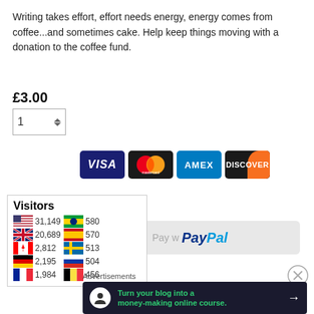Writing takes effort, effort needs energy, energy comes from coffee...and sometimes cake. Help keep things moving with a donation to the coffee fund.
£3.00
[Figure (screenshot): PayPal payment button with quantity selector showing 1, and credit card logos for Visa, Mastercard, Amex, Discover]
[Figure (infographic): Visitors counter widget showing country flags and visitor counts: US 31,149 | Brazil 580 | UK 20,689 | Spain 570 | Canada 2,812 | Sweden 513 | Germany 2,195 | Russia 504 | France 1,984 | Belgium 456]
Advertisements
[Figure (screenshot): Advertisement banner: Turn your blog into a money-making online course. Arrow button.]